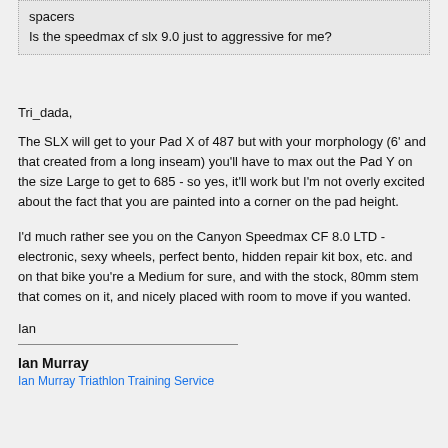| spacers |
| Is the speedmax cf slx 9.0 just to aggressive for me? |
Tri_dada,
The SLX will get to your Pad X of 487 but with your morphology (6' and that created from a long inseam) you'll have to max out the Pad Y on the size Large to get to 685 - so yes, it'll work but I'm not overly excited about the fact that you are painted into a corner on the pad height.
I'd much rather see you on the Canyon Speedmax CF 8.0 LTD - electronic, sexy wheels, perfect bento, hidden repair kit box, etc. and on that bike you're a Medium for sure, and with the stock, 80mm stem that comes on it, and nicely placed with room to move if you wanted.
Ian
Ian Murray
Ian Murray Triathlon Training Service